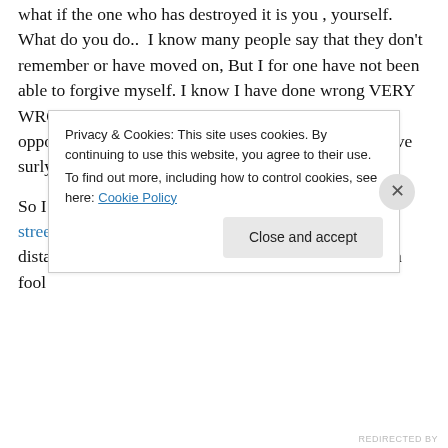what if the one who has destroyed it is you , yourself. What do you do..  I know many people say that they don't remember or have moved on, But I for one have not been able to forgive myself. I know I have done wrong VERY WRONG, how do we make it right.    If we had the opportunity to tap that Rewind button then I would have surly done it by now.
So I spent a couple of days last week roaming on the streets, trying to freshen up the memory of the not so distant past, it is still as if it was yesterday, God what a fool I could not have forgiven myself, it is done. Entirely the...
Privacy & Cookies: This site uses cookies. By continuing to use this website, you agree to their use.
To find out more, including how to control cookies, see here: Cookie Policy
Close and accept
REDIRECTED BY